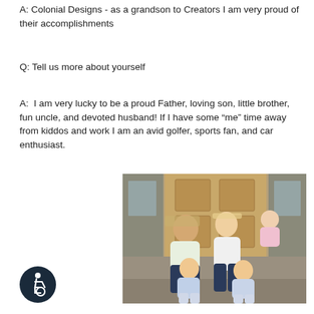A: Colonial Designs - as a grandson to Creators I am very proud of their accomplishments
Q: Tell us more about yourself
A: I am very lucky to be a proud Father, loving son, little brother, fun uncle, and devoted husband! If I have some “me” time away from kiddos and work I am an avid golfer, sports fan, and car enthusiast.
[Figure (photo): Family portrait photo showing a man, woman, baby, and two young boys seated together in front of a door]
[Figure (logo): Accessibility icon — circular dark badge with wheelchair user symbol]